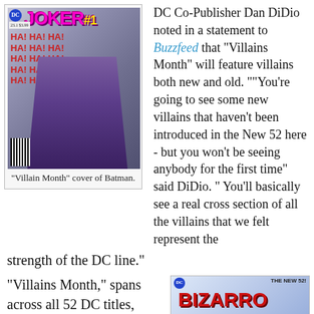[Figure (illustration): Joker #1 Villain Month cover of Batman comic book, showing Joker character with purple suit and gun, with HA HA HA text in red throughout the background. DC Comics logo in top left, issue number 23.1 $3.99.]
"Villain Month" cover of Batman.
DC Co-Publisher Dan DiDio noted in a statement to Buzzfeed that “Villains Month” will feature villains both new and old. ““You’re going to see some new villains that haven’t been introduced in the New 52 here - but you won’t be seeing anybody for the first time” said DiDio. “ You’ll basically see a real cross section of all the villains that we felt represent the strength of the DC line.”
“Villains Month,” spans across all 52 DC titles, replacing the
[Figure (illustration): Bizarro Superman #1 Villain Month cover, The New 52! banner at top right, DC Comics logo at top left, Bizarro title in large red distressed lettering, issue number 23.1 $3.99.]